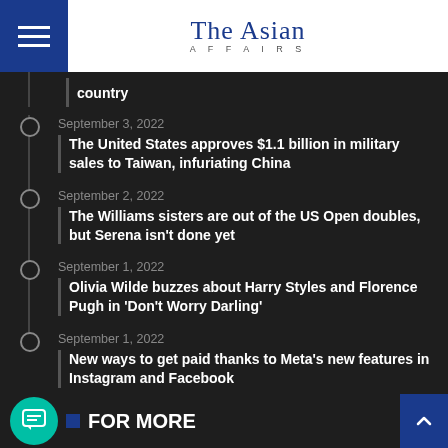The Asian Affairs
country
September 3, 2022 – The United States approves $1.1 billion in military sales to Taiwan, infuriating China
September 2, 2022 – The Williams sisters are out of the US Open doubles, but Serena isn't done yet
September 1, 2022 – Olivia Wilde buzzes about Harry Styles and Florence Pugh in 'Don't Worry Darling'
September 1, 2022 – New ways to get paid thanks to Meta's new features in Instagram and Facebook
FOR MORE